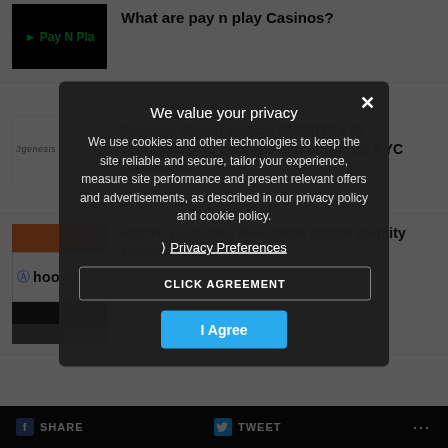What are pay n play Casinos?
[Figure (logo): Pay N Play logo on black background]
Genesis Global selects AU10TIX's AI Technology to upgrade and automate KYC processes
[Figure (logo): Genesis Global and AU10TIX logos]
HooYu Launches Re-usable Digital Identity Ecosystem
[Figure (logo): HooYu logo with orange and dark blocks]
We value your privacy
We use cookies and other technologies to keep the site reliable and secure, tailor your experience, measure site performance and present relevant offers and advertisements, as described in our privacy policy and cookie policy.
Privacy Preferences
CLICK AGREEMENT
I Agree
SHARE   TWEET   ...